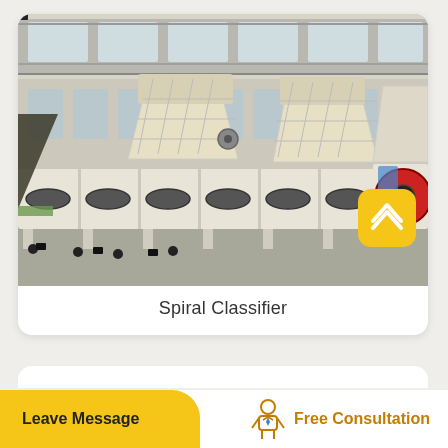[Figure (photo): Industrial spiral classifier machine in a large factory/warehouse setting. The equipment is a long white metal trough with spiral/screw mechanisms, large cream-colored hoppers or crushing units in the background, and a red motor wheel visible on the right end. The factory has high ceilings with skylights.]
Spiral Classifier
Leave Message
Free Consultation